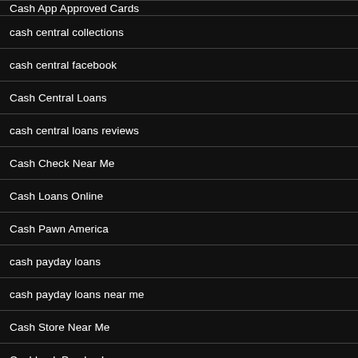Cash App Approved Cards
cash central collections
cash central facebook
Cash Central Loans
cash central loans reviews
Cash Check Near Me
Cash Loans Online
Cash Pawn America
cash payday loans
cash payday loans near me
Cash Store Near Me
Cashback Payday Loans
Cashcall